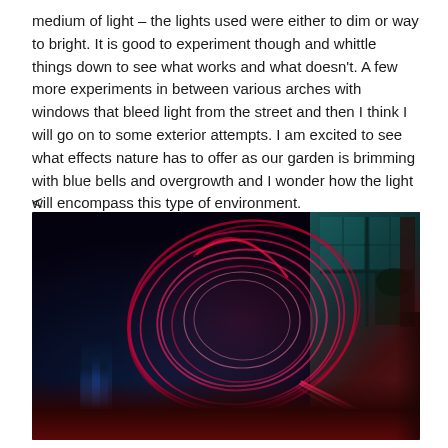medium of light – the lights used were either to dim or way to bright. It is good to experiment though and whittle things down to see what works and what doesn't. A few more experiments in between various arches with windows that bleed light from the street and then I think I will go on to some exterior attempts. I am excited to see what effects nature has to offer as our garden is brimming with blue bells and overgrowth and I wonder how the light will encompass this type of environment.
<
[Figure (photo): A dark room photograph showing light painting art – swirling pink/red neon light trails forming a heart-like loop shape against a very dark background. On the right side there is a window with teal/green light filtering through, dark curtains, and red glow on the floor. A small blue lit object is visible in the bottom left.]